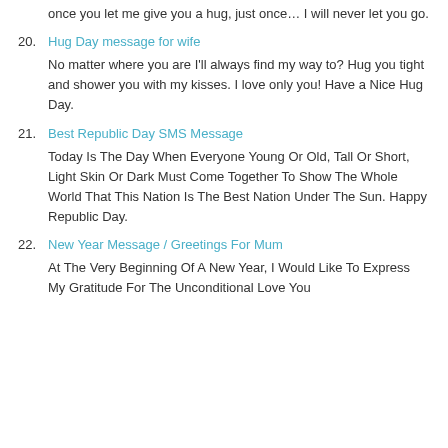once you let me give you a hug, just once… I will never let you go.
20. Hug Day message for wife
No matter where you are I'll always find my way to? Hug you tight and shower you with my kisses. I love only you! Have a Nice Hug Day.
21. Best Republic Day SMS Message
Today Is The Day When Everyone Young Or Old, Tall Or Short, Light Skin Or Dark Must Come Together To Show The Whole World That This Nation Is The Best Nation Under The Sun. Happy Republic Day.
22. New Year Message / Greetings For Mum
At The Very Beginning Of A New Year, I Would Like To Express My Gratitude For The Unconditional Love You